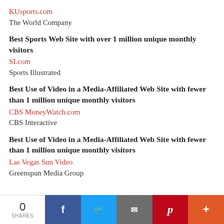KUsports.com
The World Company
Best Sports Web Site with over 1 million unique monthly visitors
SI.com
Sports Illustrated
Best Use of Video in a Media-Affiliated Web Site with fewer than 1 million unique monthly visitors
CBS MoneyWatch.com
CBS Interactive
Best Use of Video in a Media-Affiliated Web Site with fewer than 1 million unique monthly visitors
Las Vegas Sun Video
Greenspun Media Group